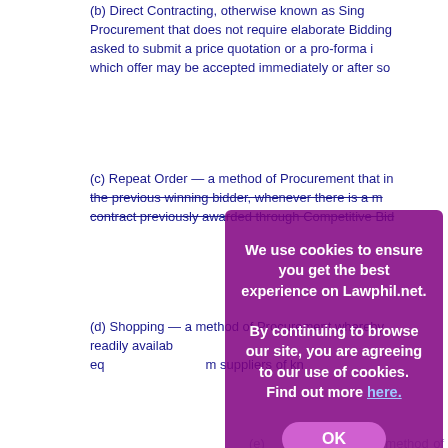(b) Direct Contracting, otherwise known as Single Source Procurement that does not require elaborate Bidding asked to submit a price quotation or a pro-forma invoice, which offer may be accepted immediately or after some negotiation.
(c) Repeat Order — a method of Procurement that involves the previous winning bidder, whenever there is a need to replenish a contract previously awarded through Competitive Bidding.
(d) Shopping — a method of Procurement whereby readily available equipment, supplies or services from known suppliers of known qualification are procured.
(e) ... a method of Procurement for extraordinary circumstances provided for in Section ... be specified in the IRR, whereby the Procuring Entity ... technically, legally and financially capable supplier, co...
In all instances, the Procuring Entity shall ensure that the most advantageous price is obtained.
Contrary to petitioner's claim of resorting to the use of limited source bidding, direct contracting as an alternative mode of procurement as evidenced by Series of 2007 entitled "RESOLUTION ADOPTING DIRECT CONTRACTING PROCUREMENT FOR THE PROCUREMENT OF ONE (1) VESSEL AT THE AMOUNT OF EIGHT MILLION FIVE HUNDRED PESOS (P8...
The claim of using limited source bidding is also betrayed by "maintained by the relevant Government authority that has exp...